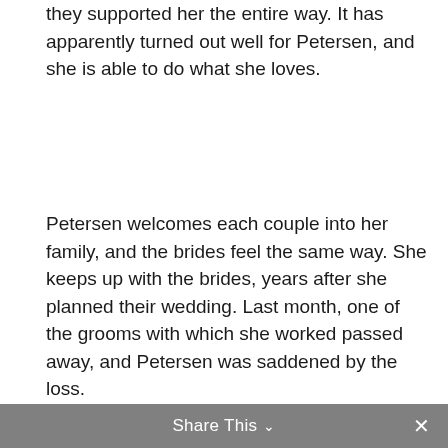they supported her the entire way. It has apparently turned out well for Petersen, and she is able to do what she loves.
Petersen welcomes each couple into her family, and the brides feel the same way. She keeps up with the brides, years after she planned their wedding. Last month, one of the grooms with which she worked passed away, and Petersen was saddened by the loss.
“I want to share a beautiful love story with tears rolling down. I have known Todd and Cara for years,” Petersen wrote in a Facebook post. “Their love for each other just stole my heart. I knew they were soulmates… On their wedding day I was beside Cara and her Dad as they prepared to walk
Share This